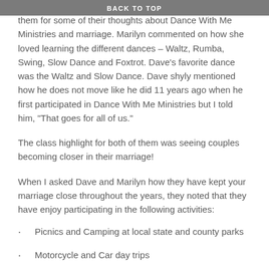BACK TO TOP
them for some of their thoughts about Dance With Me Ministries and marriage. Marilyn commented on how she loved learning the different dances – Waltz, Rumba, Swing, Slow Dance and Foxtrot. Dave's favorite dance was the Waltz and Slow Dance. Dave shyly mentioned how he does not move like he did 11 years ago when he first participated in Dance With Me Ministries but I told him, “That goes for all of us.”
The class highlight for both of them was seeing couples becoming closer in their marriage!
When I asked Dave and Marilyn how they have kept your marriage close throughout the years, they noted that they have enjoy participating in the following activities:
Picnics and Camping at local state and county parks
Motorcycle and Car day trips